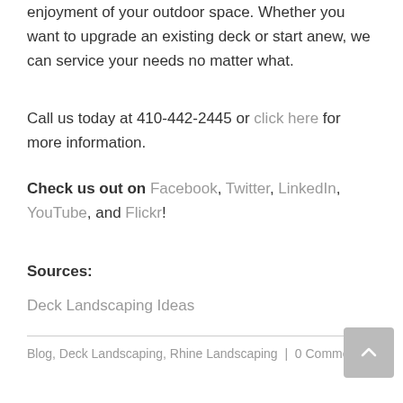enjoyment of your outdoor space. Whether you want to upgrade an existing deck or start anew, we can service your needs no matter what.
Call us today at 410-442-2445 or click here for more information.
Check us out on Facebook, Twitter, LinkedIn, YouTube, and Flickr!
Sources:
Deck Landscaping Ideas
Blog, Deck Landscaping, Rhine Landscaping | 0 Comments